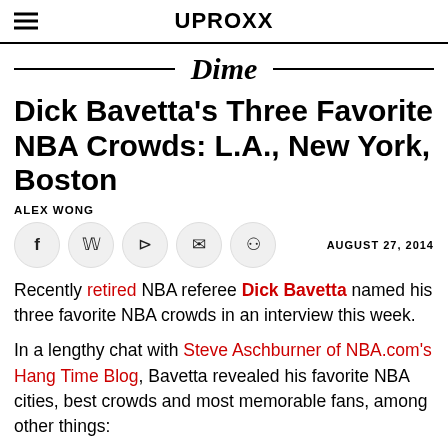UPROXX
Dime
Dick Bavetta's Three Favorite NBA Crowds: L.A., New York, Boston
ALEX WONG
AUGUST 27, 2014
Recently retired NBA referee Dick Bavetta named his three favorite NBA crowds in an interview this week.
In a lengthy chat with Steve Aschburner of NBA.com's Hang Time Blog, Bavetta revealed his favorite NBA cities, best crowds and most memorable fans, among other things: